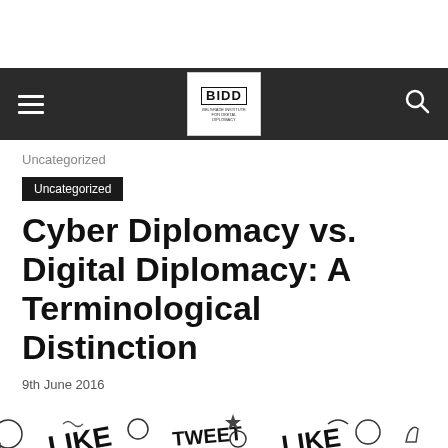BIDD — Belgrade Institute for Digital Diplomacy
Uncategorized
Uncategorized
Cyber Diplomacy vs. Digital Diplomacy: A Terminological Distinction
9th June 2016
[Figure (illustration): Black and white doodle illustration with social media icons and text including LIKE, TWEET, hashtag symbols, and other social media related drawings]